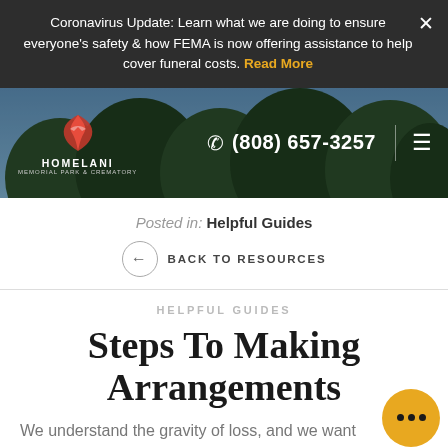Coronavirus Update: Learn what we are doing to ensure everyone's safety & how FEMA is now offering assistance to help cover funeral costs. Read More
[Figure (logo): Homelani Memorial Park & Crematory logo with red bird icon and white text on nature background header. Phone number (808) 657-3257 and hamburger menu icon.]
Posted in: Helpful Guides
← BACK TO RESOURCES
HELPFUL GUIDES
Steps To Making Arrangements
We understand the gravity of loss, and we want